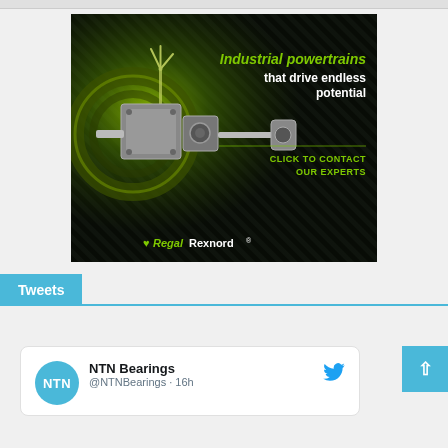[Figure (advertisement): RegalRexnord advertisement: dark background with green glowing wind turbine and industrial powertrain machinery. Text reads 'Industrial powertrains that drive endless potential. CLICK TO CONTACT OUR EXPERTS'. RegalRexnord logo at bottom.]
Tweets
[Figure (screenshot): Tweet card showing NTN Bearings (@NTNBearings · 16h) Twitter profile with NTN circular logo in blue and Twitter bird icon]